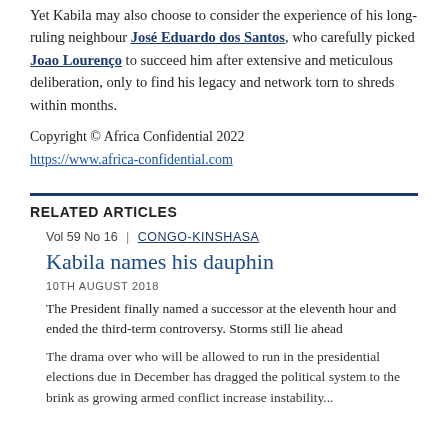Yet Kabila may also choose to consider the experience of his long-ruling neighbour José Eduardo dos Santos, who carefully picked Joao Lourenço to succeed him after extensive and meticulous deliberation, only to find his legacy and network torn to shreds within months.
Copyright © Africa Confidential 2022
https://www.africa-confidential.com
RELATED ARTICLES
Vol 59 No 16 | CONGO-KINSHASA
Kabila names his dauphin
10TH AUGUST 2018
The President finally named a successor at the eleventh hour and ended the third-term controversy. Storms still lie ahead
The drama over who will be allowed to run in the presidential elections due in December has dragged the political system to the brink as growing armed conflict increase instability...